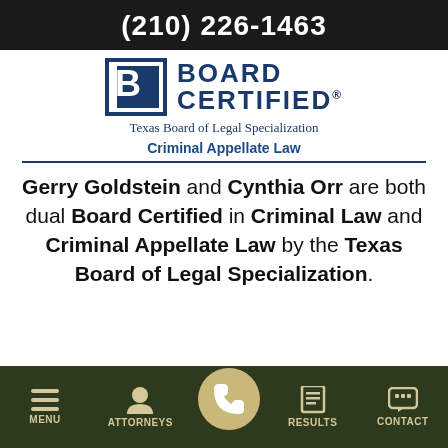(210) 226-1463
[Figure (logo): Board Certified Texas Board of Legal Specialization logo with stylized B icon in dark blue]
Criminal Appellate Law
Gerry Goldstein and Cynthia Orr are both dual Board Certified in Criminal Law and Criminal Appellate Law by the Texas Board of Legal Specialization.
MENU  ATTORNEYS  [call button]  RESULTS  CONTACT